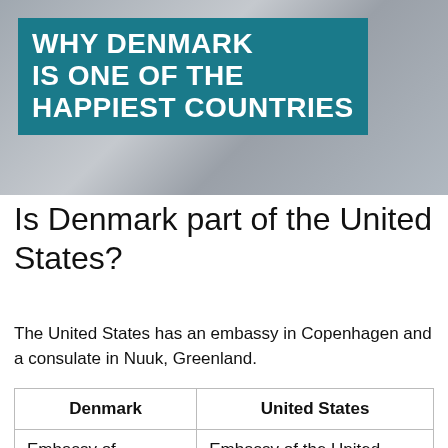[Figure (photo): Photo of cyclists with overlay text block in teal/dark cyan color reading WHY DENMARK IS ONE OF THE HAPPIEST COUNTRIES]
Is Denmark part of the United States?
The United States has an embassy in Copenhagen and a consulate in Nuuk, Greenland.
...
Denmark–United States relations.
| Denmark | United States |
| --- | --- |
| Embassy of Denmark, Washington D.C. | Embassy of the United States, Copenhagen |